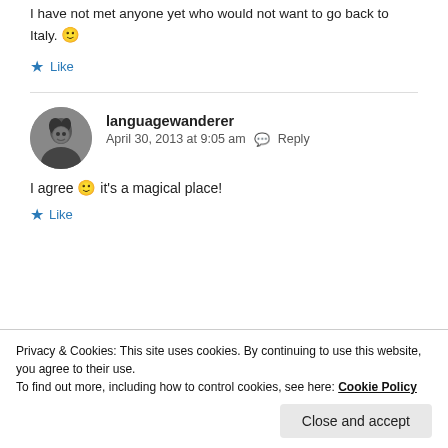I have not met anyone yet who would not want to go back to Italy. 🙂
★ Like
languagewanderer
April 30, 2013 at 9:05 am  Reply
I agree 🙂 it's a magical place!
★ Like
Privacy & Cookies: This site uses cookies. By continuing to use this website, you agree to their use.
To find out more, including how to control cookies, see here: Cookie Policy
Close and accept